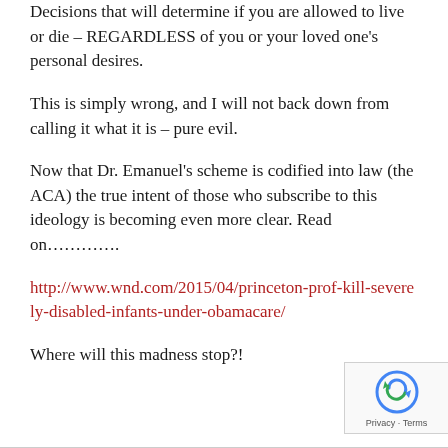Decisions that will determine if you are allowed to live or die – REGARDLESS of you or your loved one's personal desires.
This is simply wrong, and I will not back down from calling it what it is – pure evil.
Now that Dr. Emanuel's scheme is codified into law (the ACA) the true intent of those who subscribe to this ideology is becoming even more clear. Read on…………
http://www.wnd.com/2015/04/princeton-prof-kill-severely-disabled-infants-under-obamacare/
Where will this madness stop?!